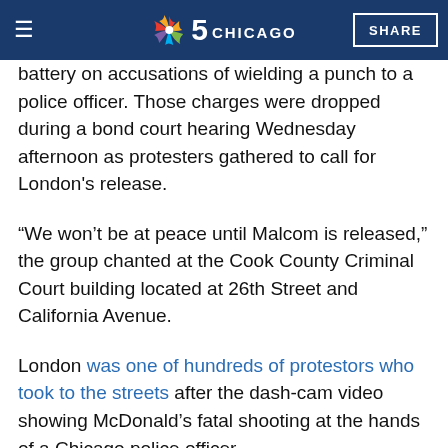NBC 5 Chicago | SHARE
battery on accusations of wielding a punch to a police officer. Those charges were dropped during a bond court hearing Wednesday afternoon as protesters gathered to call for London's release.
“We won’t be at peace until Malcom is released,” the group chanted at the Cook County Criminal Court building located at 26th Street and California Avenue.
London was one of hundreds of protestors who took to the streets after the dash-cam video showing McDonald’s fatal shooting at the hands of a Chicago police officer.
London's attorney warned supporters in the courtroom that if there were any outbursts, offenders would be "spending